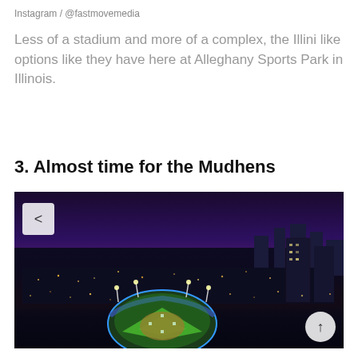Instagram / @fastmovemedia
Less of a stadium and more of a complex, the Illini like options like they have here at Alleghany Sports Park in Illinois.
3. Almost time for the Mudhens
[Figure (photo): Aerial night photo of a baseball stadium (Mudhens ballpark) lit up with field lights, surrounded by a city skyline at dusk with a dramatic red and blue sunset sky.]